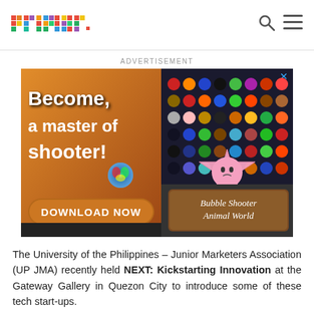primer
ADVERTISEMENT
[Figure (screenshot): Mobile game advertisement for Bubble Shooter Animal World. Text reads: Become a master of shooter! DOWNLOAD NOW. Right side shows colorful emoji/animal game icons. A pink starfish character is featured prominently. Bottom right shows a dark banner with text 'Bubble Shooter Animal World'.]
The University of the Philippines – Junior Marketers Association (UP JMA) recently held NEXT: Kickstarting Innovation at the Gateway Gallery in Quezon City to introduce some of these tech start-ups.